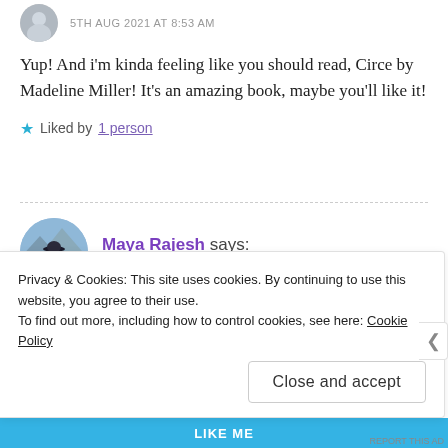5TH AUG 2021 AT 8:53 AM
Yup! And i'm kinda feeling like you should read, Circe by Madeline Miller! It's an amazing book, maybe you'll like it!
★ Liked by 1 person
Maya Rajesh says: 5TH AUG 2021 AT 1:47 PM
Privacy & Cookies: This site uses cookies. By continuing to use this website, you agree to their use.
To find out more, including how to control cookies, see here: Cookie Policy